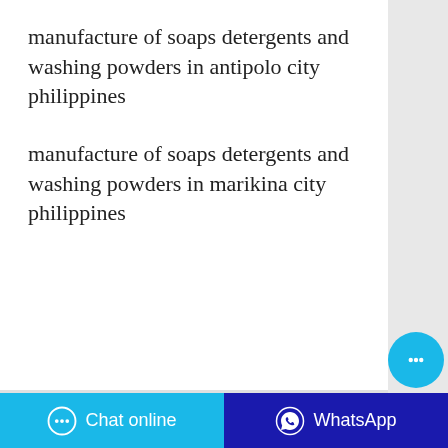manufacture of soaps detergents and washing powders in antipolo city philippines
manufacture of soaps detergents and washing powders in marikina city philippines
Random Posts
chinese soap near me delivery
soap making supplies thailand website
how to manufacture soap pots in state english education